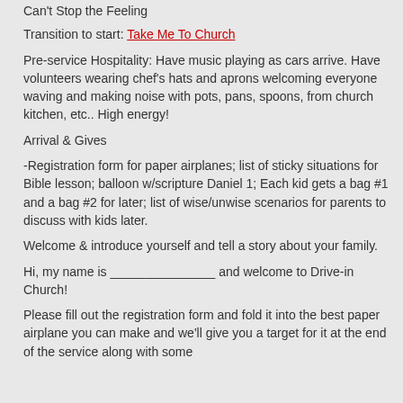Can't Stop the Feeling
Transition to start: Take Me To Church
Pre-service Hospitality: Have music playing as cars arrive. Have volunteers wearing chef's hats and aprons welcoming everyone waving and making noise with pots, pans, spoons, from church kitchen, etc.. High energy!
Arrival & Gives
-Registration form for paper airplanes; list of sticky situations for Bible lesson; balloon w/scripture Daniel 1; Each kid gets a bag #1 and a bag #2 for later; list of wise/unwise scenarios for parents to discuss with kids later.
Welcome & introduce yourself and tell a story about your family.
Hi, my name is _______________ and welcome to Drive-in Church!
Please fill out the registration form and fold it into the best paper airplane you can make and we'll give you a target for it at the end of the service along with some